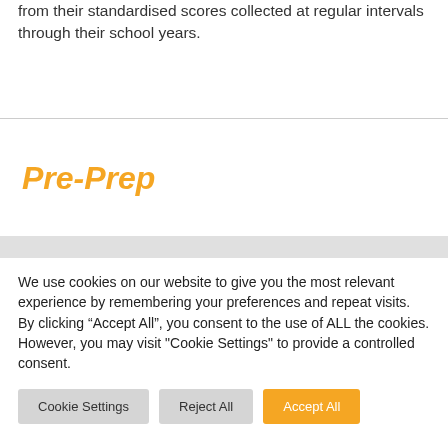from their standardised scores collected at regular intervals through their school years.
Pre-Prep
We use cookies on our website to give you the most relevant experience by remembering your preferences and repeat visits. By clicking “Accept All”, you consent to the use of ALL the cookies. However, you may visit "Cookie Settings" to provide a controlled consent.